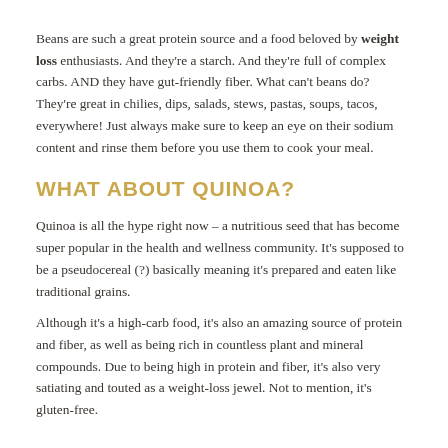Beans are such a great protein source and a food beloved by weight loss enthusiasts. And they're a starch. And they're full of complex carbs. AND they have gut-friendly fiber. What can't beans do? They're great in chilies, dips, salads, stews, pastas, soups, tacos, everywhere! Just always make sure to keep an eye on their sodium content and rinse them before you use them to cook your meal.
WHAT ABOUT QUINOA?
Quinoa is all the hype right now – a nutritious seed that has become super popular in the health and wellness community. It's supposed to be a pseudocereal (?) basically meaning it's prepared and eaten like traditional grains.
Although it's a high-carb food, it's also an amazing source of protein and fiber, as well as being rich in countless plant and mineral compounds. Due to being high in protein and fiber, it's also very satiating and touted as a weight-loss jewel. Not to mention, it's gluten-free.